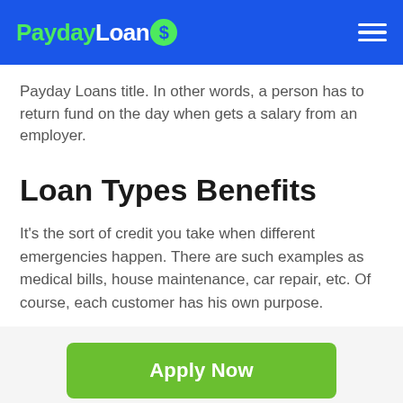PaydayLoans
Payday Loans title. In other words, a person has to return fund on the day when gets a salary from an employer.
Loan Types Benefits
It's the sort of credit you take when different emergencies happen. There are such examples as medical bills, house maintenance, car repair, etc. Of course, each customer has his own purpose.
[Figure (other): Green Apply Now button]
Applying does NOT affect your credit score! No credit check to apply.